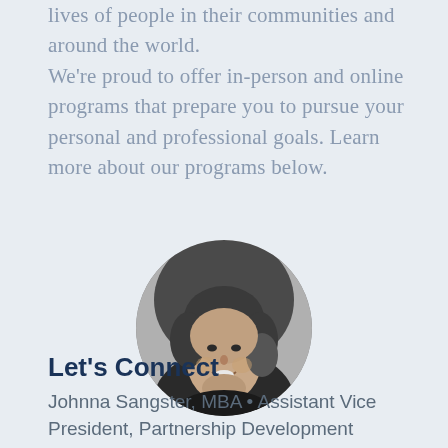lives of people in their communities and around the world. We're proud to offer in-person and online programs that prepare you to pursue your personal and professional goals. Learn more about our programs below.
[Figure (photo): Black and white circular portrait photo of Johnna Sangster, a woman with short dark hair, smiling]
Let's Connect
Johnna Sangster, MBA • Assistant Vice President, Partnership Development